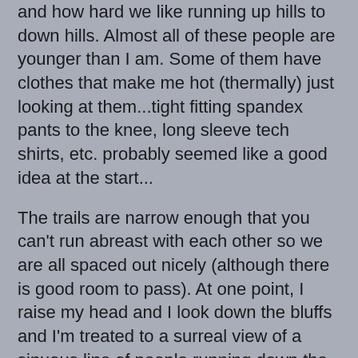and how hard we like running up hills to down hills. Almost all of these people are younger than I am. Some of them have clothes that make me hot (thermally) just looking at them...tight fitting spandex pants to the knee, long sleeve tech shirts, etc. probably seemed like a good idea at the start...
The trails are narrow enough that you can't run abreast with each other so we are all spaced out nicely (although there is good room to pass). At one point, I raise my head and I look down the bluffs and I'm treated to a surreal view of a sinuous line of people running down the coast..legs all pumping madly...
At around 8 miles we are off the dirt and heading back the way we came. At the water stops now I take two cups and dump one of them down my back...at this point it's "Half-In, Half-On" . It feels good, if a bit shockingly cold...I can tell I'm running hotter that my usual morning training runs. Every few minutes we pass somebody walking...
This course is an out-and-back for most of it and we are now sharing the course with the slower runners still coming our